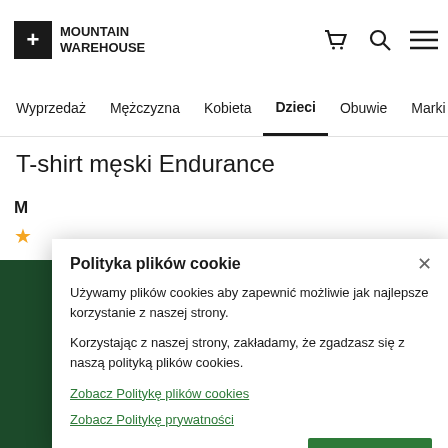[Figure (logo): Mountain Warehouse logo with plus icon and bold text]
Wyprzedaż  Mężczyzna  Kobieta  Dzieci  Obuwie  Marki
T-shirt męski Endurance
M
[Figure (infographic): Orange star rating icon]
Polityka plików cookie
Używamy plików cookies aby zapewnić możliwie jak najlepsze korzystanie z naszej strony.
Korzystając z naszej strony, zakładamy, że zgadzasz się z naszą polityką plików cookies.
Zobacz Politykę plików cookies
Zobacz Politykę prywatności
Zgadzam się
on our US site
kliknij tutaj